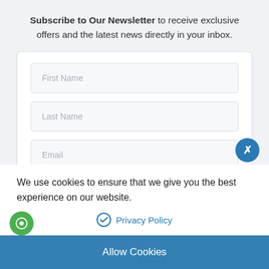Subscribe to Our Newsletter to receive exclusive offers and the latest news directly in your inbox.
[Figure (screenshot): Newsletter subscription form with three input fields: First Name, Last Name, and Email]
We use cookies to ensure that we give you the best experience on our website.
Privacy Policy
Allow Cookies